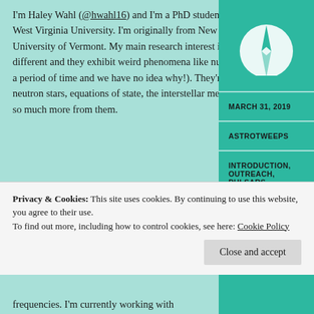[Figure (logo): Circular compass or navigation icon with white arrow/needle on teal background, partially cropped at top]
I'm Haley Wahl (@hwahl16) and I'm a PhD student in the Department of Physics and Astronomy at West Virginia University. I'm originally from New England and I did my undergraduate at the University of Vermont. My main research interest is pulsars. I love pulsars because each of them is different and they exhibit weird phenomena like nulling (where they just randomly stop pulsing for a period of time and we have no idea why!). They're a ton of fun to study and we can learn about neutron stars, equations of state, the interstellar medium, gravitational waves, plasma physics, and so much more from them.
MARCH 31, 2019
ASTROTWEEPS
INTRODUCTION, OUTREACH, PULSARS
Privacy & Cookies: This site uses cookies. By continuing to use this website, you agree to their use.
To find out more, including how to control cookies, see here: Cookie Policy
Close and accept
frequencies. I'm currently working with